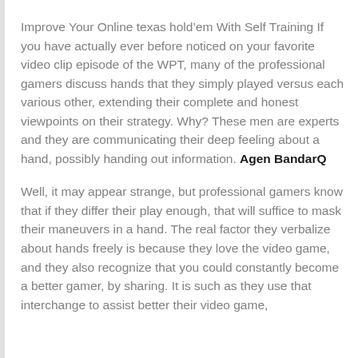Improve Your Online texas hold’em With Self Training If you have actually ever before noticed on your favorite video clip episode of the WPT, many of the professional gamers discuss hands that they simply played versus each various other, extending their complete and honest viewpoints on their strategy. Why? These men are experts and they are communicating their deep feeling about a hand, possibly handing out information. Agen BandarQ
Well, it may appear strange, but professional gamers know that if they differ their play enough, that will suffice to mask their maneuvers in a hand. The real factor they verbalize about hands freely is because they love the video game, and they also recognize that you could constantly become a better gamer, by sharing. It is such as they use that interchange to assist better their video game,